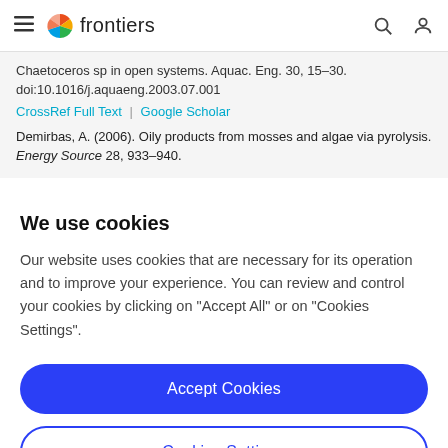frontiers
Chaetoceros sp in open systems. Aquac. Eng. 30, 15–30. doi:10.1016/j.aquaeng.2003.07.001
CrossRef Full Text | Google Scholar
Demirbas, A. (2006). Oily products from mosses and algae via pyrolysis. Energy Source 28, 933–940.
We use cookies
Our website uses cookies that are necessary for its operation and to improve your experience. You can review and control your cookies by clicking on "Accept All" or on "Cookies Settings".
Accept Cookies
Cookies Settings